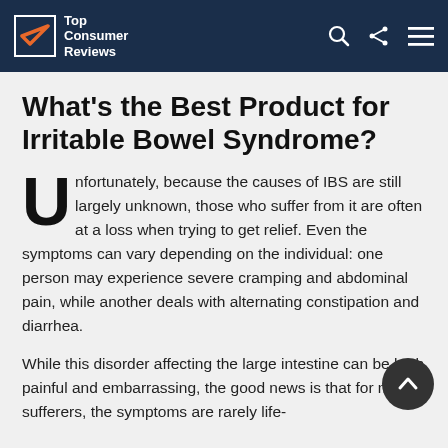Top Consumer Reviews
What's the Best Product for Irritable Bowel Syndrome?
Unfortunately, because the causes of IBS are still largely unknown, those who suffer from it are often at a loss when trying to get relief. Even the symptoms can vary depending on the individual: one person may experience severe cramping and abdominal pain, while another deals with alternating constipation and diarrhea.
While this disorder affecting the large intestine can be both painful and embarrassing, the good news is that for most sufferers, the symptoms are rarely life-